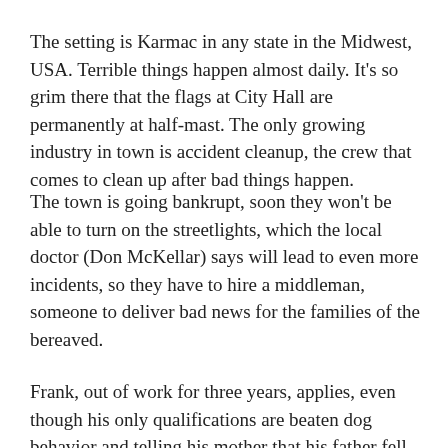The setting is Karmac in any state in the Midwest, USA. Terrible things happen almost daily. It’s so grim there that the flags at City Hall are permanently at half-mast. The only growing industry in town is accident cleanup, the crew that comes to clean up after bad things happen.
The town is going bankrupt, soon they won’t be able to turn on the streetlights, which the local doctor (Don McKellar) says will lead to even more incidents, so they have to hire a middleman, someone to deliver bad news for the families of the bereaved.
Frank, out of work for three years, applies, even though his only qualifications are beaten dog behavior and telling his mother that his father fell off a ladder, hit his head and died.
He gets the job, learns the ropes – “Crying is a privilege that belongs to the next of kin,” says the sheriff (Paul Gross).